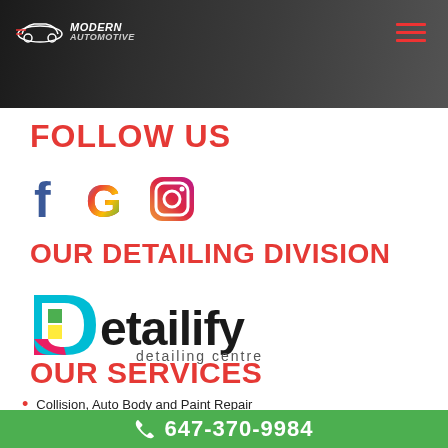[Figure (photo): Dark banner with car detailing background image and Modern Automotive logo on left, hamburger menu icon on right]
FOLLOW US
[Figure (logo): Social media icons: Facebook (blue), Google (multicolor), Instagram (gradient)]
OUR DETAILING DIVISION
[Figure (logo): Detailify detailing centre logo with colorful D letter and bold text]
OUR SERVICES
Collision, Auto Body and Paint Repair
Paintless Dent Repair and Hail Damage
647-370-9984